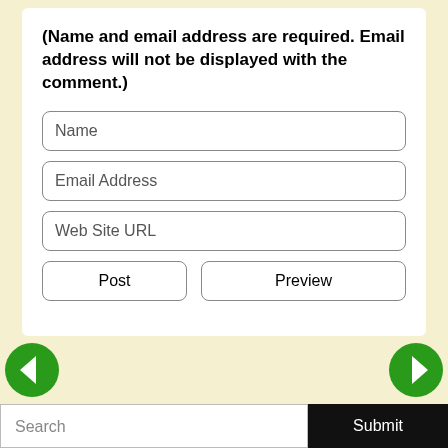(Name and email address are required. Email address will not be displayed with the comment.)
[Figure (screenshot): Web form with Name, Email Address, and Web Site URL text input fields, plus Post and Preview buttons]
[Figure (infographic): Navigation arrows (left green arrow, right green arrow) and a search bar with Submit button at the bottom]